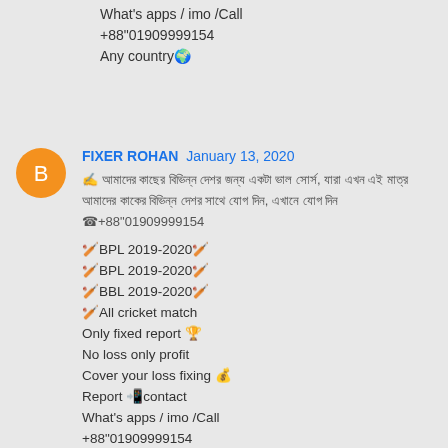What's apps / imo /Call
+88"01909999154
Any country🌍
FIXER ROHAN  January 13, 2020
✍ আমাদের কাছের বিভিন্ন দেশর জন্য একটা ভাল সোর্স, যারা এখন এই মাত্র আমাদের কাকের বিভিন্ন দেশর সাথে যোগ দিন, এখানে যোগ দিন ☎+88"01909999154
🏏BPL 2019-2020🏏
🏏BPL 2019-2020🏏
🏏BBL 2019-2020🏏
🏏All cricket match
Only fixed report 🏆
No loss only profit
Cover your loss fixing 💰
Report 📲contact
What's apps / imo /Call
+88"01909999154
Any country🌍..